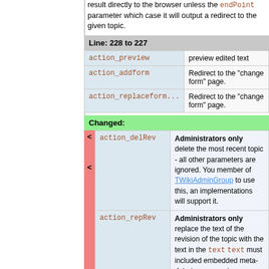result directly to the browser unless the endPoint parameter ... which case it will output a redirect to the given topic.
Line: 228 to 227
|  |  |
| --- | --- |
| action_preview | preview edited text |
| action_addform | Redirect to the "change form" page. |
| action_replaceform... | Redirect to the "change form" page. |
Changed:
|  |  |
| --- | --- |
| action_delRev | Administrators only delete the most recent topic - all other parameters are ignored. You member of TWikiAdminGroup to use this, and implementations will support it. |
| action_repRev | Administrators only replace the text of the revision of the topic with the text in the text ... text must included embedded meta-data tags. parameters are ignored. You have to be a member of TWikiAdminGroup to use this, and not all store implementations will support it. |
|  |  |
| --- | --- |
| action_delRev | Administrators only delete the most recent ... |